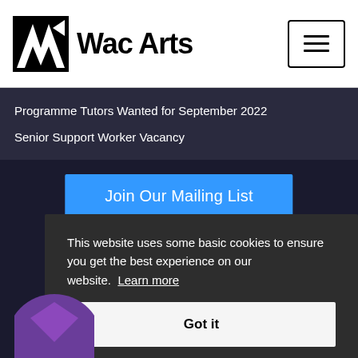Wac Arts
Programme Tutors Wanted for September 2022
Senior Support Worker Vacancy
Join Our Mailing List
This website uses some basic cookies to ensure you get the best experience on our website.  Learn more
Got it